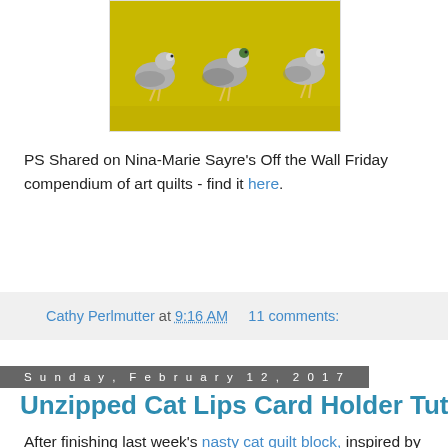[Figure (photo): Photo of fabric with pigeon/bird print on yellow background, partially cropped at top]
PS Shared on Nina-Marie Sayre's Off the Wall Friday compendium of art quilts - find it here.
Cathy Perlmutter at 9:16 AM   11 comments:
Sunday, February 12, 2017
Unzipped Cat Lips Card Holder Tutorial
After finishing last week's nasty cat quilt block, inspired by #pussyhats, it occurred to me that I could easily turn it into a useful cardholder. So here's round two.
[Figure (photo): Photo of cat quilt block, partially cropped at bottom]